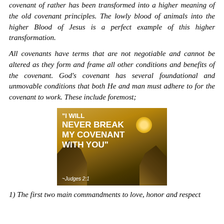covenant of rather has been transformed into a higher meaning of the old covenant principles. The lowly blood of animals into the higher Blood of Jesus is a perfect example of this higher transformation.
All covenants have terms that are not negotiable and cannot be altered as they form and frame all other conditions and benefits of the covenant. God's covenant has several foundational and unmovable conditions that both He and man must adhere to for the covenant to work. These include foremost;
[Figure (illustration): Inspirational image with mountain landscape at sunset showing quote 'I WILL NEVER BREAK MY COVENANT WITH YOU' ~Judges 2:1 in white bold text on golden-brown background]
1) The first two main commandments to love, honor and respect